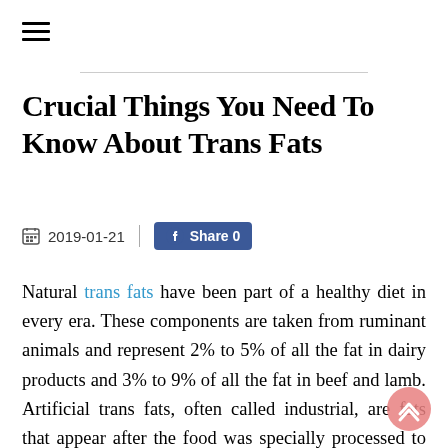Crucial Things You Need To Know About Trans Fats
2019-01-21
Natural trans fats have been part of a healthy diet in every era. These components are taken from ruminant animals and represent 2% to 5% of all the fat in dairy products and 3% to 9% of all the fat in beef and lamb. Artificial trans fats, often called industrial, are fats that appear after the food was specially processed to help it last longer on shelves and they're seriously harmful to your health.